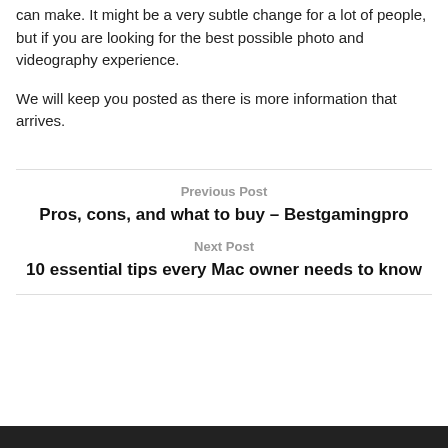can make. It might be a very subtle change for a lot of people, but if you are looking for the best possible photo and videography experience.
We will keep you posted as there is more information that arrives.
Previous Post
Pros, cons, and what to buy – Bestgamingpro
Next Post
10 essential tips every Mac owner needs to know